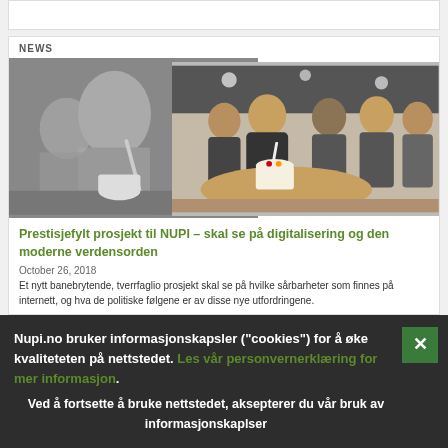NEWS
[Figure (photo): Two overlapping photos: left is black-and-white image of a woman cutting a cake; right is a color photo of a group of people around a table with a cake in an office/restaurant setting.]
Prestisjefylt prosjekt til NUPI – skal se på digitalisering og den moderne verdensorden
October 26, 2018
Et nytt banebrytende, tverrfaglio prosjekt skal se på hvilke sårbarheter som finnes på internett, og hva de politiske følgene er av disse nye utfordringene.
Nupi.no bruker informasjonskapsler ("cookies") for å øke kvaliteteten på nettstedet. Les vår personvernerklæring for mer informasjon.
Ved å fortsette å bruke nettstedet, aksepterer du vår bruk av informasjonskaplser